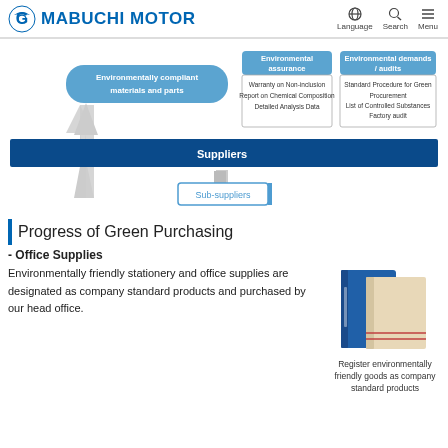MABUCHI MOTOR — Language | Search | Menu
[Figure (flowchart): Green procurement flowchart showing Mabuchi Motor at top receiving 'Environmentally compliant materials and parts' from Suppliers, with 'Environmental assurance' (Warranty on Non-inclusion, Report on Chemical Composition, Detailed Analysis Data) and 'Environmental demands / audits' (Standard Procedure for Green Procurement, List of Controlled Substances, Factory audit) flowing between them. Suppliers connect to Sub-suppliers below via bidirectional arrow.]
Progress of Green Purchasing
- Office Supplies
Environmentally friendly stationery and office supplies are designated as company standard products and purchased by our head office.
[Figure (photo): Photo of blue binder and beige/cream folder representing environmentally friendly office supplies]
Register environmentally friendly goods as company standard products